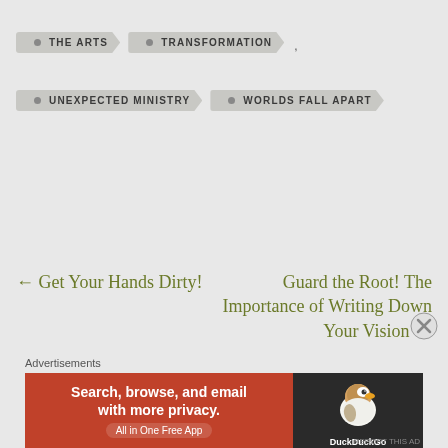THE ARTS
TRANSFORMATION
UNEXPECTED MINISTRY
WORLDS FALL APART
← Get Your Hands Dirty!
Guard the Root! The Importance of Writing Down Your Vision →
Advertisements
[Figure (other): DuckDuckGo advertisement banner: orange left section with text 'Search, browse, and email with more privacy. All in One Free App', dark right section with DuckDuckGo duck logo]